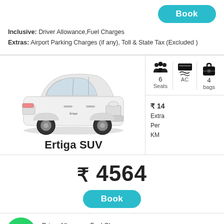Inclusive: Driver Allowance, Fuel Charges
Extras: Airport Parking Charges (if any), Toll & State Tax (Excluded)
[Figure (photo): White Maruti Suzuki Ertiga SUV car photograph]
Ertiga SUV
6 Seats | AC | 4 bags
₹ 14 Extra Per KM
₹ 4564
Driver Allowance, Fuel Charges
Airport Parking Charges (if any), Toll & State Tax (Excluded)